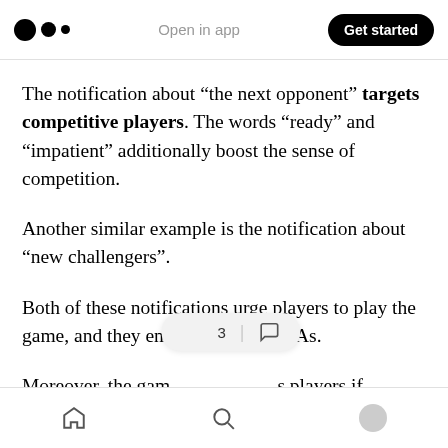Medium app header — Open in app | Get started
The notification about “the next opponent” targets competitive players. The words “ready” and “impatient” additionally boost the sense of competition.
Another similar example is the notification about “new challengers”.
Both of these notifications urge players to play the game, and they end with strong CTAs.
Moreover, the gam… s players if
Bottom navigation bar — Home | Search | Profile